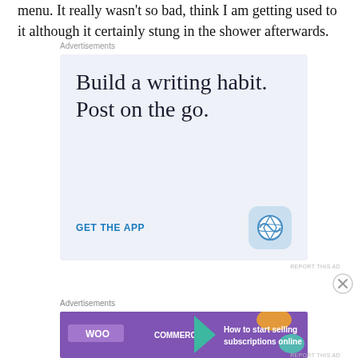menu. It really wasn't so bad, think I am getting used to it although it certainly stung in the shower afterwards.
Advertisements
[Figure (illustration): WordPress app advertisement with text 'Build a writing habit. Post on the go.' and 'GET THE APP' link with WordPress logo icon on light blue background]
REPORT THIS AD
Advertisements
[Figure (illustration): WooCommerce advertisement with purple background, WooCommerce logo, and text 'How to start selling subscriptions online']